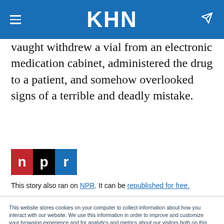KHN
vaught withdrew a vial from an electronic medication cabinet, administered the drug to a patient, and somehow overlooked signs of a terrible and deadly mistake.
[Figure (logo): NPR logo with three colored blocks: red 'n', black 'p', blue 'r']
This story also ran on NPR. It can be republished for free.
This website stores cookies on your computer to collect information about how you interact with our website. We use this information in order to improve and customize your browsing experience and for analytics and metrics about our visitors both on this website and other media. To find out more about the cookies we use, see our Privacy Policy.